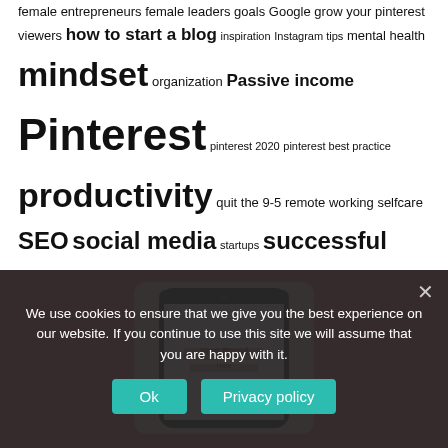female entrepreneurs female leaders goals Google grow your pinterest viewers how to start a blog inspiration Instagram tips mental health mindset organization Passive income Pinterest pinterest 2020 pinterest best practice productivity quit the 9-5 remote working selfcare SEO social media startups successful women Tailwind Tailwind Tribes tools wellbeing wellness women entrepreneurs women in business women leaders Wordpress work from home
[Figure (photo): Screenshot of a mobile phone on a pink/red background showing a branded social media template, partially obscured by a cookie consent popup]
We use cookies to ensure that we give you the best experience on our website. If you continue to use this site we will assume that you are happy with it.